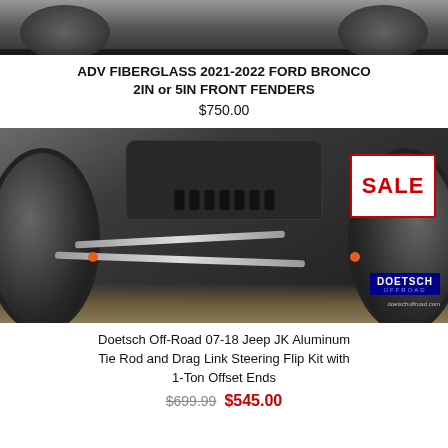[Figure (photo): Top portion of a vehicle undercarriage or off-road part, partially cropped]
ADV FIBERGLASS 2021-2022 FORD BRONCO 2IN or 5IN FRONT FENDERS
$750.00
[Figure (photo): Doetsch Off-Road Jeep JK front axle assembly with aluminum tie rod, drag link, steering flip kit, and 1-Ton offset ends. Large off-road tires visible on sides. SALE badge overlaid in top-right corner.]
Doetsch Off-Road 07-18 Jeep JK Aluminum Tie Rod and Drag Link Steering Flip Kit with 1-Ton Offset Ends
$699.99  $545.00